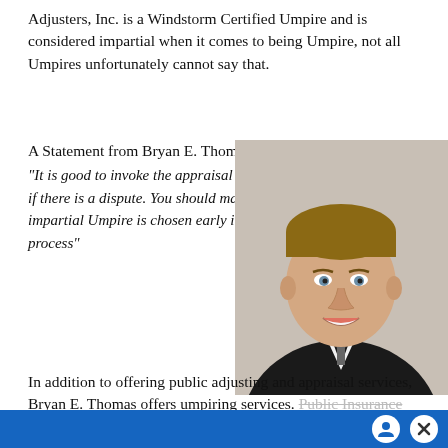Adjusters, Inc. is a Windstorm Certified Umpire and is considered impartial when it comes to being Umpire, not all Umpires unfortunately cannot say that.
A Statement from Bryan E. Thomas: "It is good to invoke the appraisal claus early if there is a dispute. You should make sure an impartial Umpire is chosen early in the process"
[Figure (photo): Professional headshot of Bryan E. Thomas, a man in a dark suit with a patterned tie, smiling, against a light background.]
In addition to offering public adjusting and appraisal services, Bryan E. Thomas offers umpiring services. Public Insurance Adjusters and the process of...